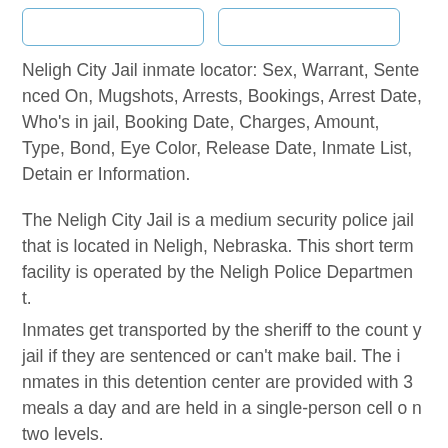Neligh City Jail inmate locator: Sex, Warrant, Sentenced On, Mugshots, Arrests, Bookings, Arrest Date, Who's in jail, Booking Date, Charges, Amount, Type, Bond, Eye Color, Release Date, Inmate List, Detainer Information.
The Neligh City Jail is a medium security police jail that is located in Neligh, Nebraska. This short term facility is operated by the Neligh Police Department.
Inmates get transported by the sheriff to the county jail if they are sentenced or can't make bail. The inmates in this detention center are provided with 3 meals a day and are held in a single-person cell on two levels.